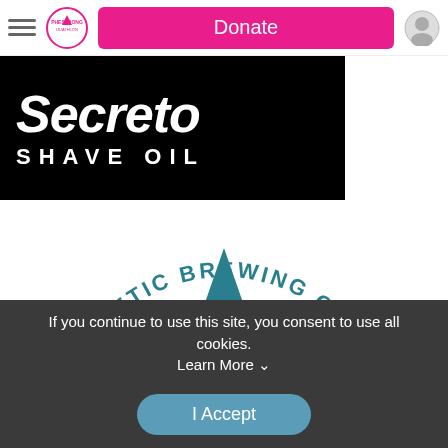Donate
[Figure (logo): Secreto Shave Oil logo — white italic bold text on black background reading 'Secreto' above 'SHAVE OIL' in white spaced caps]
[Figure (logo): Athletic Brewing Co. logo — teal/dark cyan arched text reading 'ATHLETIC BREWING CO.' around a large letter A with wheat graphic and two bullet points]
If you continue to use this site, you consent to use all cookies. Learn More ˅
I Accept